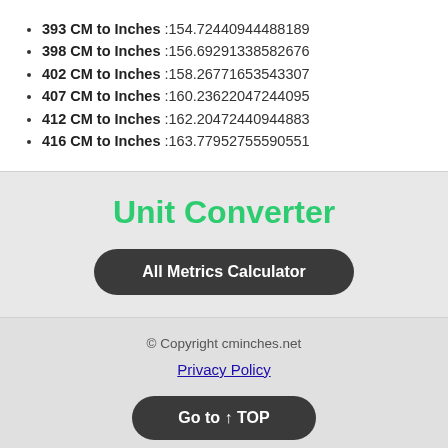393 CM to Inches :154.72440944488189
398 CM to Inches :156.69291338582676
402 CM to Inches :158.26771653543307
407 CM to Inches :160.23622047244095
412 CM to Inches :162.20472440944883
416 CM to Inches :163.77952755590551
Unit Converter
All Metrics Calculator
© Copyright cminches.net
Privacy Policy
Go to ↑ TOP